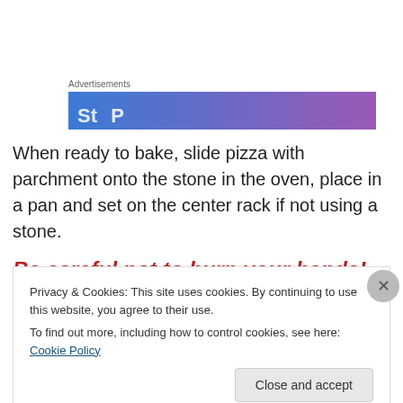[Figure (other): Advertisement banner with blue-purple gradient background and white bold text partially visible]
When ready to bake, slide pizza with parchment onto the stone in the oven, place in a pan and set on the center rack if not using a stone.
Be careful not to burn your hands!
[Figure (photo): Partial photo of pizza on a surface, cropped at bottom]
Privacy & Cookies: This site uses cookies. By continuing to use this website, you agree to their use.
To find out more, including how to control cookies, see here: Cookie Policy
Close and accept